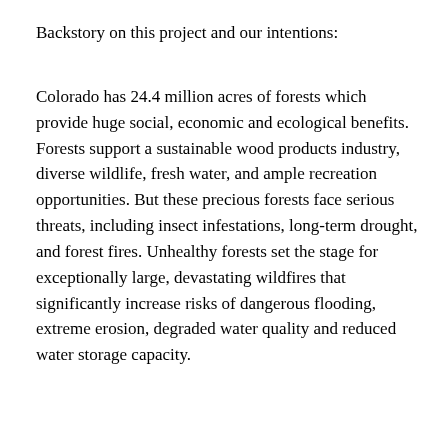Backstory on this project and our intentions:
Colorado has 24.4 million acres of forests which provide huge social, economic and ecological benefits. Forests support a sustainable wood products industry, diverse wildlife, fresh water, and ample recreation opportunities. But these precious forests face serious threats, including insect infestations, long-term drought, and forest fires. Unhealthy forests set the stage for exceptionally large, devastating wildfires that significantly increase risks of dangerous flooding, extreme erosion, degraded water quality and reduced water storage capacity.